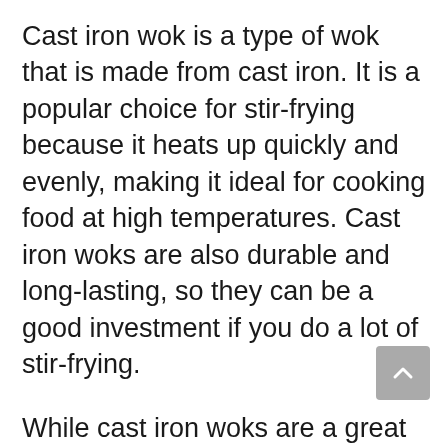Cast iron wok is a type of wok that is made from cast iron. It is a popular choice for stir-frying because it heats up quickly and evenly, making it ideal for cooking food at high temperatures. Cast iron woks are also durable and long-lasting, so they can be a good investment if you do a lot of stir-frying.
While cast iron woks are a great choice for stir-frying, they do require some special care. They should be seasoned before use, and they should be cleaned with soap and water after each use. You should also avoid using metal utensils on a cast iron wok, as this can damage the seasoning.
This type of wok is not restricted to only